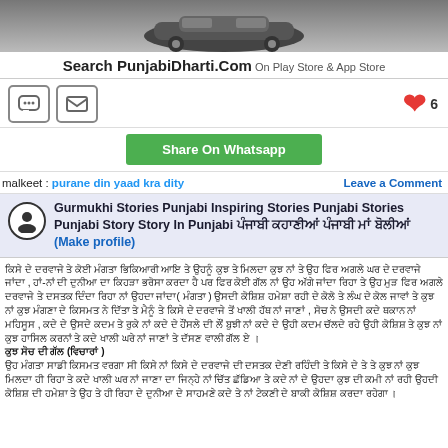[Figure (photo): Grayscale image of a car at the top of the page]
Search PunjabiDharti.Com  On Play Store & App Store
[Figure (infographic): Chat icon and email icon on left, heart icon with count 6 on right]
Share On Whatsapp
malkeet : purane din yaad kra dity    Leave a Comment
Gurmukhi Stories Punjabi Inspiring Stories Punjabi Stories Punjabi Story Story In Punjabi ਪੰਜਾਬੀ ਕਹਾਣੀਆਂ ਪੰਜਾਬੀ ਮਾਂ ਬੋਲੀਆਂ (Make profile)
Punjabi story text in Gurmukhi script (multiple paragraphs)